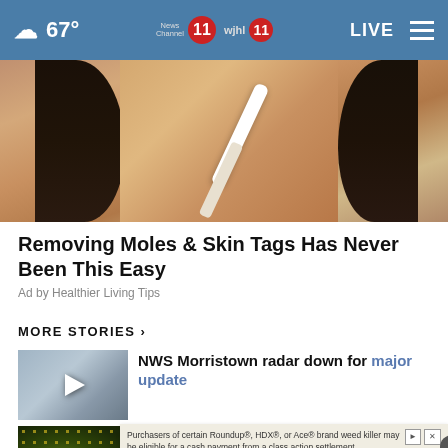☁ 67° | News Channel 11 wjhl 11 | LIVE
[Figure (photo): Woman applying something white to her nose with a tool, close-up face shot]
Removing Moles & Skin Tags Has Never Been This Easy
Ad by Healthier Living Tips
MORE STORIES ›
[Figure (photo): Video thumbnail with play button, weather radar station photo]
NWS Morristown radar down for major update
[Figure (photo): Close-up of yellow flowers on dark green foliage]
Purchasers of certain Roundup®, HDX®, or Ace® brand weed killer may be eligible for a cash payment from a class action settlement. Visit www.NeedKillerAdSettlement.com to learn more.
The price of premium beer is going down, here's why